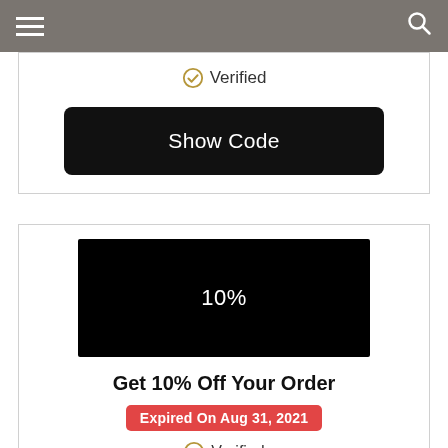Navigation bar with hamburger menu and search icon
Verified
Show Code
[Figure (other): Black coupon/offer image with white text reading 10%]
Get 10% Off Your Order
Expired On Aug 31, 2021
Verified